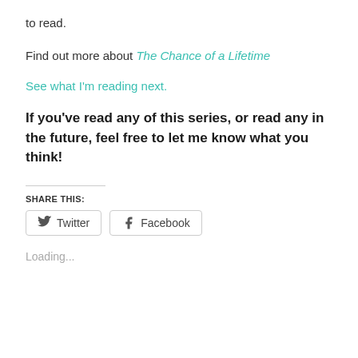to read.
Find out more about The Chance of a Lifetime
See what I'm reading next.
If you've read any of this series, or read any in the future, feel free to let me know what you think!
Share this:
Loading...